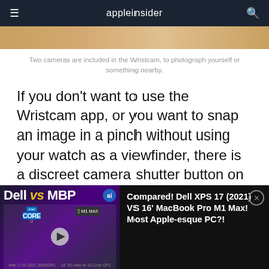appleinsider
[Figure (photo): Partial top of a photo showing what appears to be the Wristcam device, cropped at top]
Two cameras are included in the Wristcam, to photograph yourself or something nearby.
If you don't want to use the Wristcam app, or you want to snap an image in a pinch without using your watch as a viewfinder, there is a discreet camera shutter button on the front of the device.
Roisman and Frischer said they particularly
[Figure (screenshot): Video ad overlay at bottom: Dell vs MBP comparison video thumbnail on left with play button, text on right reading 'Compared! Dell XPS 17 (2021) VS 16' MacBook Pro M1 Max! Most Apple-esque PC?!' with close button]